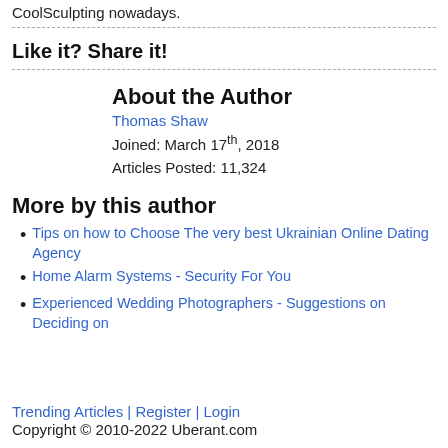CoolSculpting nowadays.
Like it? Share it!
About the Author
Thomas Shaw
Joined: March 17th, 2018
Articles Posted: 11,324
More by this author
Tips on how to Choose The very best Ukrainian Online Dating Agency
Home Alarm Systems - Security For You
Experienced Wedding Photographers - Suggestions on Deciding on
Trending Articles | Register | Login
Copyright © 2010-2022 Uberant.com